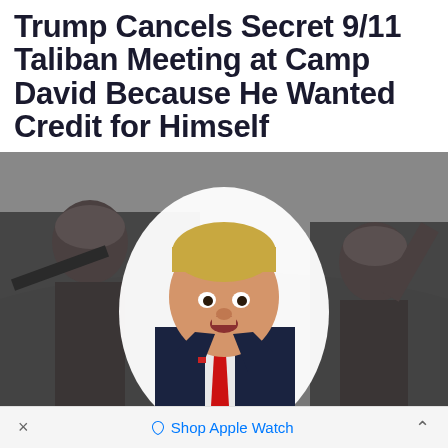Trump Cancels Secret 9/11 Taliban Meeting at Camp David Because He Wanted Credit for Himself
[Figure (photo): Composite photo showing Donald Trump in a suit with a red tie in the foreground, flanked by two Taliban fighters in black and white on either side in a rocky outdoor setting.]
× Shop Apple Watch ^